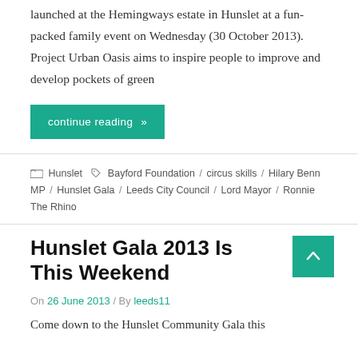launched at the Hemingways estate in Hunslet at a fun-packed family event on Wednesday (30 October 2013). Project Urban Oasis aims to inspire people to improve and develop pockets of green
continue reading »
Hunslet / Bayford Foundation / circus skills / Hilary Benn MP / Hunslet Gala / Leeds City Council / Lord Mayor / Ronnie The Rhino
Hunslet Gala 2013 Is This Weekend
On 26 June 2013 / By leeds11
Come down to the Hunslet Community Gala this